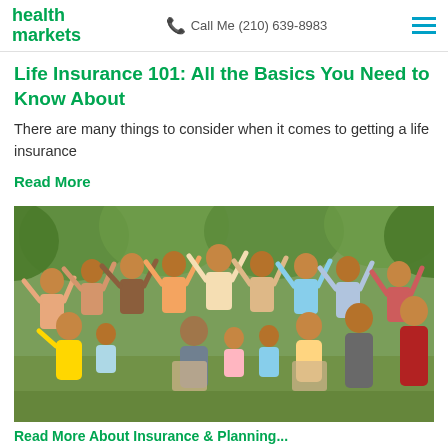health markets | Call Me (210) 639-8983
Life Insurance 101: All the Basics You Need to Know About
There are many things to consider when it comes to getting a life insurance
Read More
[Figure (photo): Large multigenerational Hispanic family group celebrating outdoors with arms raised, smiling and cheering, trees in background]